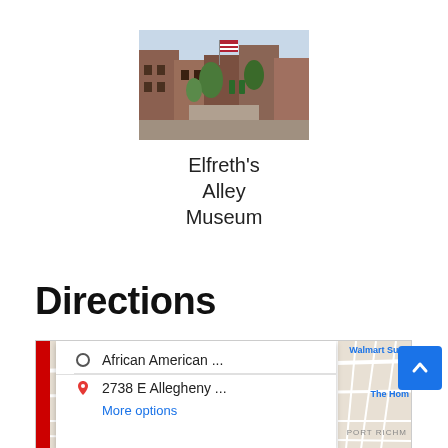[Figure (photo): Photo of Elfreth's Alley, showing a narrow historic brick street with American flag and trees]
Elfreth's Alley Museum
Directions
[Figure (map): Google Maps directions panel showing route from African American ... to 2738 E Allegheny ..., with More options link. Map shows Kensington, Port Richmond, Walmart Supe, The Hom areas.]